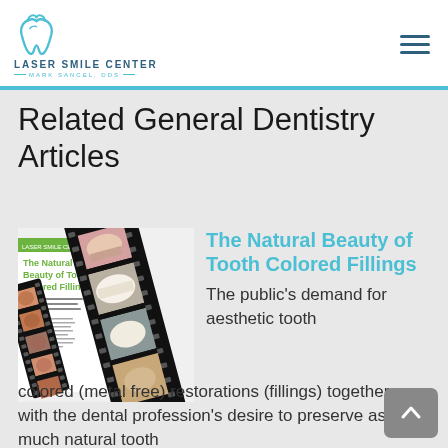[Figure (logo): Laser Smile Center logo with dental tooth icon and text 'LASER SMILE CENTER — MARK SANCEL, DDS —']
Related General Dentistry Articles
[Figure (photo): Film strip style image showing tooth colored fillings article cover with dental X-ray images]
The Natural Beauty of Tooth Colored Fillings
The public's demand for aesthetic tooth colored (metal free) restorations (fillings) together with the dental profession's desire to preserve as much natural tooth